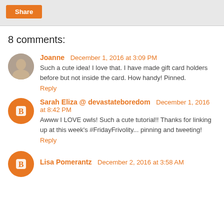Share
8 comments:
Joanne  December 1, 2016 at 3:09 PM
Such a cute idea! I love that. I have made gift card holders before but not inside the card. How handy! Pinned.
Reply
Sarah Eliza @ devastateboredom  December 1, 2016 at 8:42 PM
Awww I LOVE owls! Such a cute tutorial!! Thanks for linking up at this week's #FridayFrivolity... pinning and tweeting!
Reply
Lisa Pomerantz  December 2, 2016 at 3:58 AM